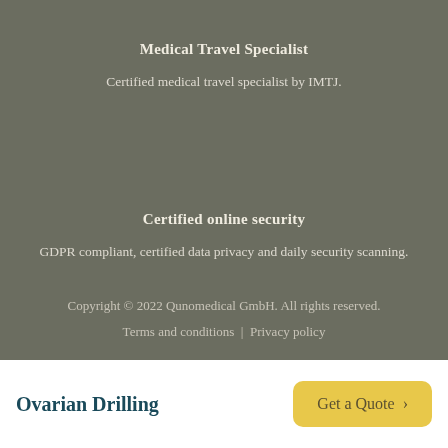Medical Travel Specialist
Certified medical travel specialist by IMTJ.
Certified online security
GDPR compliant, certified data privacy and daily security scanning.
Copyright © 2022 Qunomedical GmbH. All rights reserved.
Terms and conditions  |  Privacy policy
Ovarian Drilling
Get a Quote  >